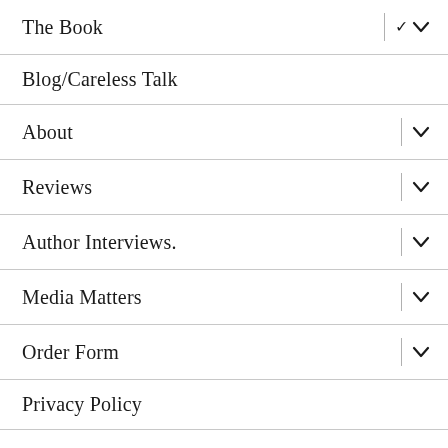The Book
Blog/Careless Talk
About
Reviews
Author Interviews.
Media Matters
Order Form
Privacy Policy